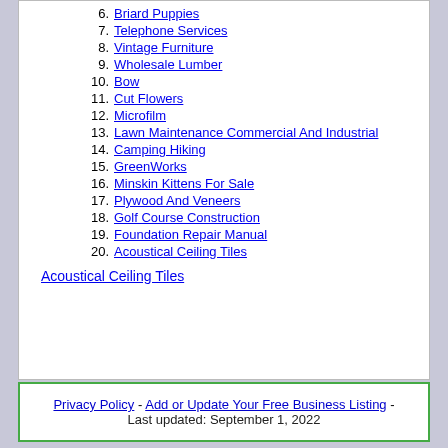6. Briard Puppies
7. Telephone Services
8. Vintage Furniture
9. Wholesale Lumber
10. Bow
11. Cut Flowers
12. Microfilm
13. Lawn Maintenance Commercial And Industrial
14. Camping Hiking
15. GreenWorks
16. Minskin Kittens For Sale
17. Plywood And Veneers
18. Golf Course Construction
19. Foundation Repair Manual
20. Acoustical Ceiling Tiles
Acoustical Ceiling Tiles
Privacy Policy - Add or Update Your Free Business Listing - Last updated: September 1, 2022